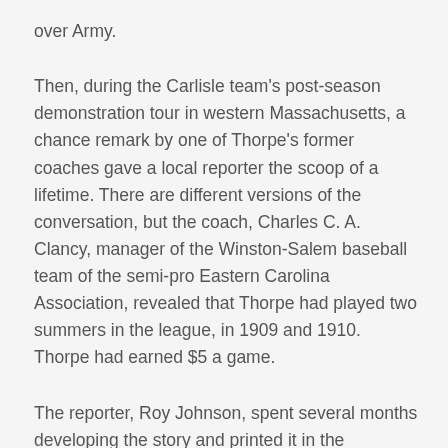over Army.
Then, during the Carlisle team's post-season demonstration tour in western Massachusetts, a chance remark by one of Thorpe's former coaches gave a local reporter the scoop of a lifetime. There are different versions of the conversation, but the coach, Charles C. A. Clancy, manager of the Winston-Salem baseball team of the semi-pro Eastern Carolina Association, revealed that Thorpe had played two summers in the league, in 1909 and 1910. Thorpe had earned $5 a game.
The reporter, Roy Johnson, spent several months developing the story and printed it in the Worcester (Mass.) Telegram in early January 1912. It lay there